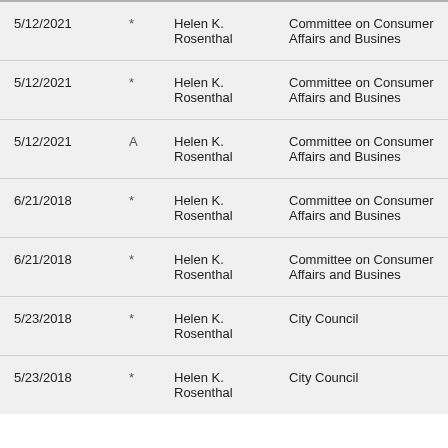| 5/12/2021 | * | Helen K. Rosenthal | Committee on Consumer Affairs and Business |
| 5/12/2021 | * | Helen K. Rosenthal | Committee on Consumer Affairs and Business |
| 5/12/2021 | A | Helen K. Rosenthal | Committee on Consumer Affairs and Business |
| 6/21/2018 | * | Helen K. Rosenthal | Committee on Consumer Affairs and Business |
| 6/21/2018 | * | Helen K. Rosenthal | Committee on Consumer Affairs and Business |
| 5/23/2018 | * | Helen K. Rosenthal | City Council |
| 5/23/2018 | * | Helen K. Rosenthal | City Council |